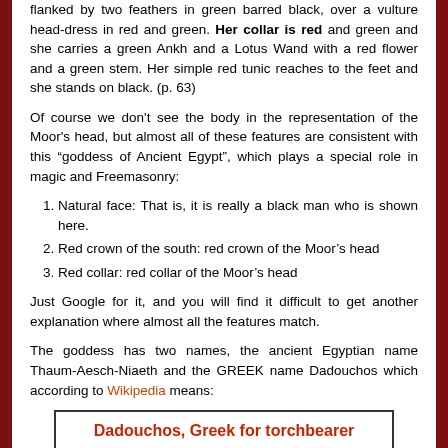flanked by two feathers in green barred black, over a vulture head-dress in red and green. Her collar is red and green and she carries a green Ankh and a Lotus Wand with a red flower and a green stem. Her simple red tunic reaches to the feet and she stands on black. (p. 63)
Of course we don't see the body in the representation of the Moor's head, but almost all of these features are consistent with this “goddess of Ancient Egypt”, which plays a special role in magic and Freemasonry:
Natural face: That is, it is really a black man who is shown here.
Red crown of the south: red crown of the Moor’s head
Red collar: red collar of the Moor’s head
Just Google for it, and you will find it difficult to get another explanation where almost all the features match.
The goddess has two names, the ancient Egyptian name Thaum-Aesch-Niaeth and the GREEK name Dadouchos which according to Wikipedia means:
Dadouchos, Greek for torchbearer